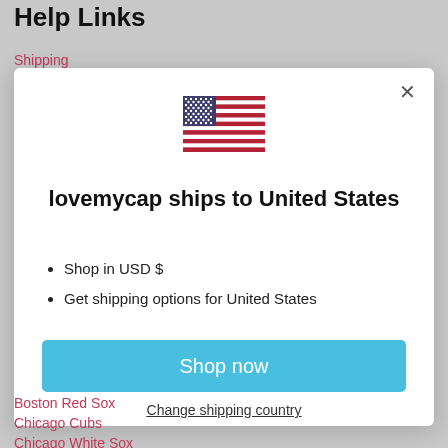Help Links
Shipping
[Figure (illustration): A modal dialog box with a US flag, text 'lovemycap ships to United States', bullet points, a Shop now button, and a Change shipping country link]
Shop in USD $
Get shipping options for United States
Shop now
Change shipping country
Boston Red Sox
Chicago Cubs
Chicago White Sox